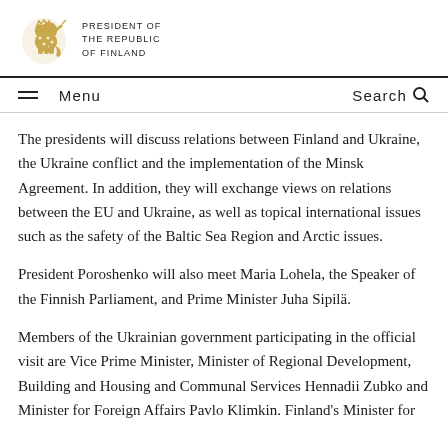PRESIDENT OF THE REPUBLIC OF FINLAND
Menu  Search
The presidents will discuss relations between Finland and Ukraine, the Ukraine conflict and the implementation of the Minsk Agreement. In addition, they will exchange views on relations between the EU and Ukraine, as well as topical international issues such as the safety of the Baltic Sea Region and Arctic issues.
President Poroshenko will also meet Maria Lohela, the Speaker of the Finnish Parliament, and Prime Minister Juha Sipilä.
Members of the Ukrainian government participating in the official visit are Vice Prime Minister, Minister of Regional Development, Building and Housing and Communal Services Hennadii Zubko and Minister for Foreign Affairs Pavlo Klimkin. Finland's Minister for